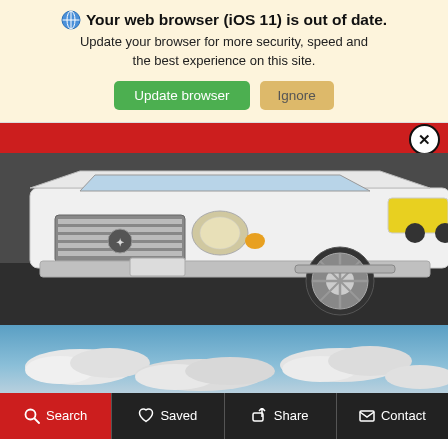Your web browser (iOS 11) is out of date. Update your browser for more security, speed and the best experience on this site.
Update browser | Ignore
[Figure (screenshot): Red navigation/header bar with a close (X) button on the right side]
[Figure (photo): Front view of a white Ram pickup truck (2500 series) with chrome grille and wheels, parked in a dealership lot. A yellow sports car is visible in the background on the right.]
[Figure (photo): Partial view of a blue sky with white clouds]
Search | Saved | Share | Contact